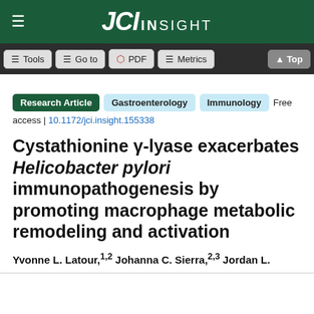JCI Insight
Tools  Go to  PDF  Metrics  Top
Research Article  Gastroenterology  Immunology  Free access | 10.1172/jci.insight.155338
Cystathionine γ-lyase exacerbates Helicobacter pylori immunopathogenesis by promoting macrophage metabolic remodeling and activation
Yvonne L. Latour,1,2 Johanna C. Sierra,2,3 Jordan L.